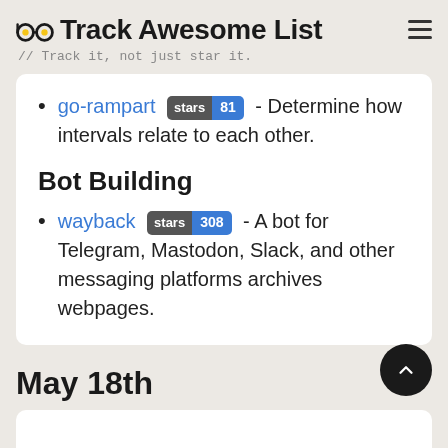Track Awesome List // Track it, not just star it.
go-rampart stars 81 - Determine how intervals relate to each other.
Bot Building
wayback stars 308 - A bot for Telegram, Mastodon, Slack, and other messaging platforms archives webpages.
May 18th